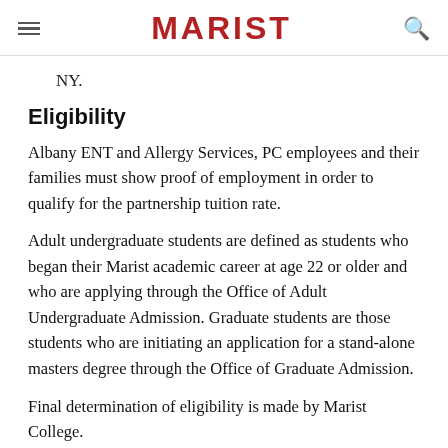MARIST
NY.
Eligibility
Albany ENT and Allergy Services, PC employees and their families must show proof of employment in order to qualify for the partnership tuition rate.
Adult undergraduate students are defined as students who began their Marist academic career at age 22 or older and who are applying through the Office of Adult Undergraduate Admission. Graduate students are those students who are initiating an application for a stand-alone masters degree through the Office of Graduate Admission.
Final determination of eligibility is made by Marist College.
Complete our online inquiry form to receive more